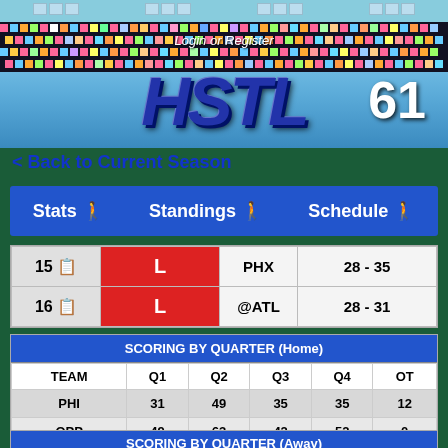[Figure (illustration): HSTL Season 61 game website banner with stadium background, pixel art crowd, mascot, and logo]
Login or Register
< Back to Current Season
|  |  | PHX | 28 - 35 |
| --- | --- | --- | --- |
| 15 | L | PHX | 28 - 35 |
| 16 | L | @ATL | 28 - 31 |
| SCORING BY QUARTER (Home) |  |  |  |  |  |
| --- | --- | --- | --- | --- | --- |
| TEAM | Q1 | Q2 | Q3 | Q4 | OT |
| PHI | 31 | 49 | 35 | 35 | 12 |
| OPP | 49 | 63 | 42 | 52 | 0 |
| SCORING BY QUARTER (Away) |  |  |  |  |  |
| --- | --- | --- | --- | --- | --- |
| TEAM | Q1 | Q2 | Q3 | Q4 | OT |